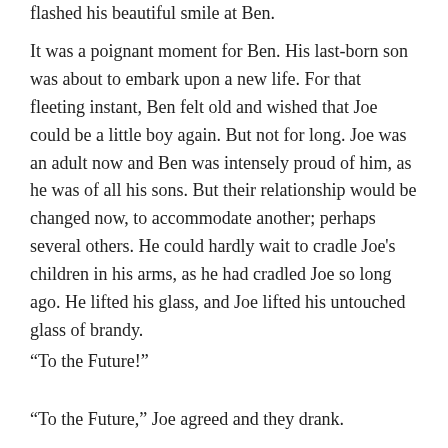flashed his beautiful smile at Ben.
It was a poignant moment for Ben. His last-born son was about to embark upon a new life. For that fleeting instant, Ben felt old and wished that Joe could be a little boy again. But not for long. Joe was an adult now and Ben was intensely proud of him, as he was of all his sons. But their relationship would be changed now, to accommodate another; perhaps several others. He could hardly wait to cradle Joe’s children in his arms, as he had cradled Joe so long ago. He lifted his glass, and Joe lifted his untouched glass of brandy.
“To the Future!”
“To the Future,” Joe agreed and they drank.